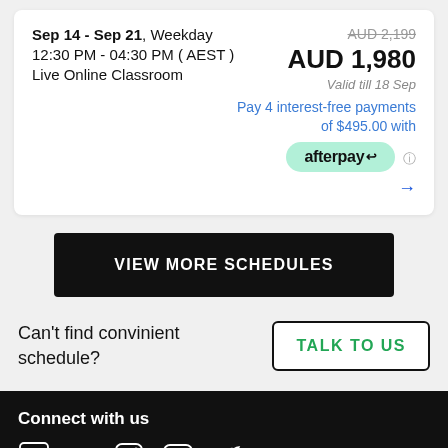Sep 14 - Sep 21, Weekday
12:30 PM - 04:30 PM ( AEST )
Live Online Classroom
AUD 2,199
AUD 1,980
Valid till 18 Sep
Pay 4 interest-free payments of $495.00 with afterpay
VIEW MORE SCHEDULES
Can't find convinient schedule?
TALK TO US
Connect with us
DROP A QUERY
CORPORATE